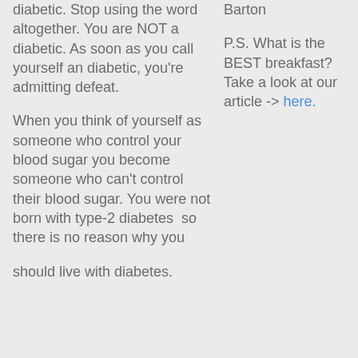diabetic. Stop using the word altogether. You are NOT a diabetic. As soon as you call yourself an diabetic, you're admitting defeat.
When you think of yourself as someone who control your blood sugar you become someone who can't control their blood sugar. You were not born with type-2 diabetes  so there is no reason why you
should live with diabetes.
Barton
P.S. What is the BEST breakfast? Take a look at our article -> here.